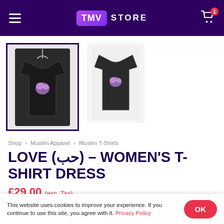TMV STORE
[Figure (photo): Two dark/black women's t-shirt dress product photos on white background. Left image is selected (highlighted with dark border), right image shows alternate view.]
Shop > Muslim Apparel > Muslim T-Shirts
LOVE (حب) – WOMEN'S T-SHIRT DRESS
£29.00 (exc. Tax)
This website uses cookies to improve your experience. If you continue to use this site, you agree with it. Privacy Policy